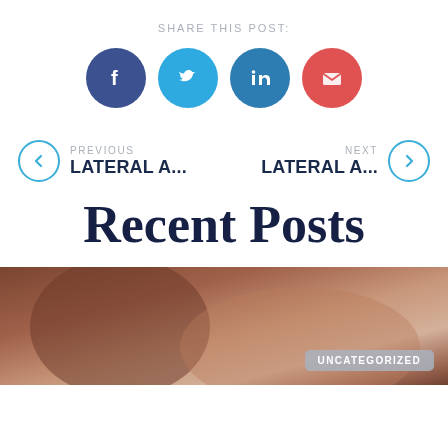SHARE THIS POST:
[Figure (infographic): Four social media share buttons: Facebook (dark blue circle), Twitter (light blue circle), LinkedIn (teal blue circle), Email (red circle)]
PREVIOUS LATERAL A...
NEXT LATERAL A...
Recent Posts
[Figure (photo): Close-up photo of skin or body part with an UNCATEGORIZED badge overlay]